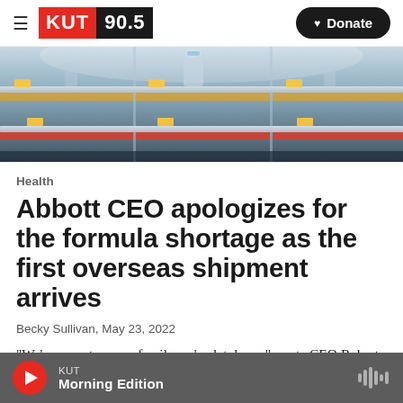KUT 90.5 — Donate
[Figure (photo): Empty store shelves with a few scattered baby formula products, price tags visible on shelf edges]
Health
Abbott CEO apologizes for the formula shortage as the first overseas shipment arrives
Becky Sullivan, May 23, 2022
"We're sorry to every family we've let down," wrote CEO Robert Ford. The shuttered plant at the heart of
KUT Morning Edition